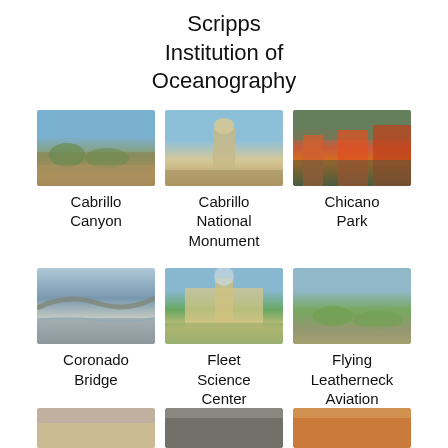Scripps Institution of Oceanography
[Figure (photo): Outdoor park area, Cabrillo Canyon]
Cabrillo Canyon
[Figure (photo): Statue outdoors, Cabrillo National Monument]
Cabrillo National Monument
[Figure (photo): Colorful murals under overpass, Chicano Park]
Chicano Park
[Figure (photo): Bridge over water, Coronado Bridge]
Coronado Bridge
[Figure (photo): Building with fountain and greenery, Fleet Science Center]
Fleet Science Center
[Figure (photo): Aerial/park view, Flying Leatherneck Aviation Museum]
Flying Leatherneck Aviation Museum
[Figure (photo): Partially visible photo at bottom left]
[Figure (photo): Partially visible photo at bottom center]
[Figure (photo): Partially visible photo at bottom right]